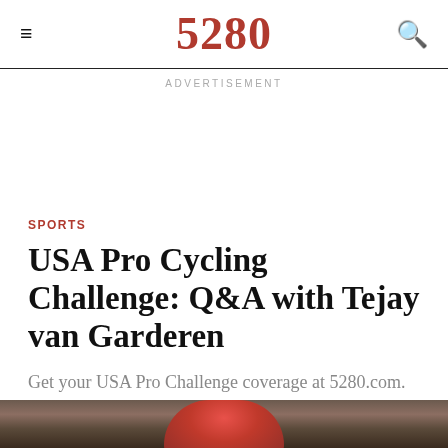5280
ADVERTISEMENT
SPORTS
USA Pro Cycling Challenge: Q&A with Tejay van Garderen
Get your USA Pro Challenge coverage at 5280.com.
Kate Gibbons
August 19, 2013
[Figure (photo): Cyclist wearing a red/pink helmet, blurred background]